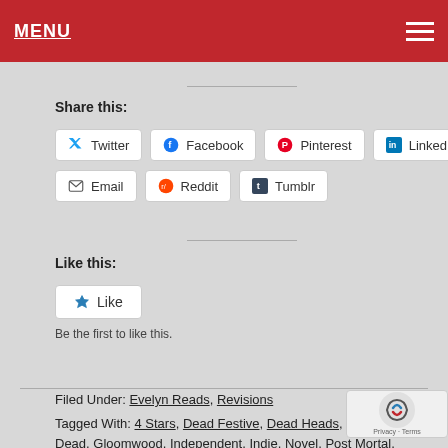MENU
Share this:
Twitter, Facebook, Pinterest, LinkedIn, Email, Reddit, Tumblr
Like this:
Be the first to like this.
Filed Under: Evelyn Reads, Revisions
Tagged With: 4 Stars, Dead Festive, Dead Heads, Get Ted Dead, Gloomwood, Independent, Indie, Novel, Post Mortal, Review, Reviews, Ross Young, Series, Urban Fantasy